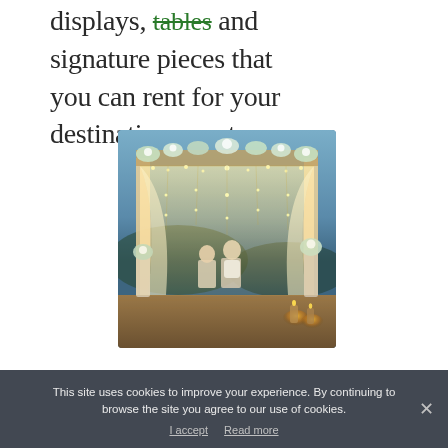displays, tables and signature pieces that you can rent for your destination event.
[Figure (photo): Wedding ceremony setup at dusk with a floral arch decorated with fairy lights and white curtains, a couple seated inside the arch facing a scenic backdrop, lanterns and candles on the ground.]
This site uses cookies to improve your experience. By continuing to browse the site you agree to our use of cookies. I accept  Read more